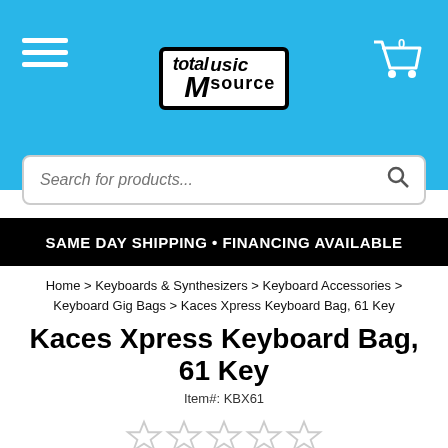[Figure (logo): Total Music Source logo in white bordered box with guitar graphic, on blue background]
Search for products...
SAME DAY SHIPPING • FINANCING AVAILABLE
Home > Keyboards & Synthesizers > Keyboard Accessories > Keyboard Gig Bags > Kaces Xpress Keyboard Bag, 61 Key
Kaces Xpress Keyboard Bag, 61 Key
Item#: KBX61
[Figure (other): Five empty star rating icons]